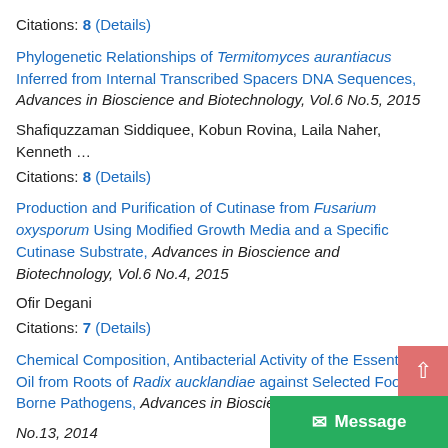Citations: 8 (Details)
Phylogenetic Relationships of Termitomyces aurantiacus Inferred from Internal Transcribed Spacers DNA Sequences, Advances in Bioscience and Biotechnology, Vol.6 No.5, 2015
Shafiquzzaman Siddiquee, Kobun Rovina, Laila Naher, Kenneth …
Citations: 8 (Details)
Production and Purification of Cutinase from Fusarium oxysporum Using Modified Growth Media and a Specific Cutinase Substrate, Advances in Bioscience and Biotechnology, Vol.6 No.4, 2015
Ofir Degani
Citations: 7 (Details)
Chemical Composition, Antibacterial Activity of the Essential Oil from Roots of Radix aucklandiae against Selected Food-Borne Pathogens, Advances in Bioscience and Biotechnology, No.13, 2014